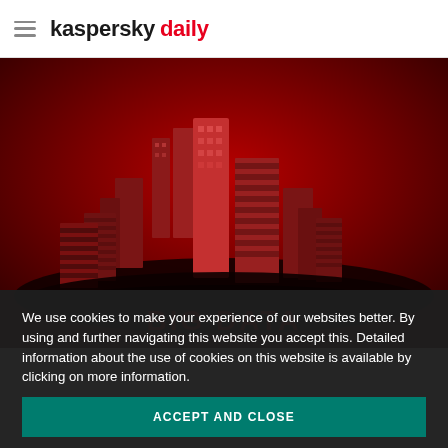kaspersky daily
[Figure (illustration): Dark red background with 3D rendered city skyline of tall buildings, with 'BIG DATA' text visible in red at the bottom of the image]
We use cookies to make your experience of our websites better. By using and further navigating this website you accept this. Detailed information about the use of cookies on this website is available by clicking on more information.
ACCEPT AND CLOSE